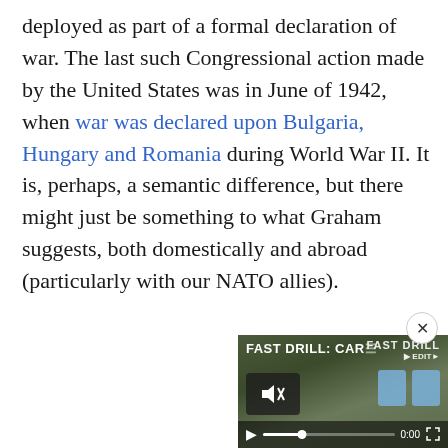deployed as part of a formal declaration of war. The last such Congressional action made by the United States was in June of 1942, when war was declared upon Bulgaria, Hungary and Romania during World War II. It is, perhaps, a semantic difference, but there might just be something to what Graham suggests, both domestically and abroad (particularly with our NATO allies).
[Figure (screenshot): A video player overlay showing 'FAST DRILL: CAR' title with Fast Drill logo in the top right, a muted speaker icon, two blue target icons on the right, a play button, progress bar showing 0:00, and fullscreen button. Background shows an outdoor shooting range scene.]